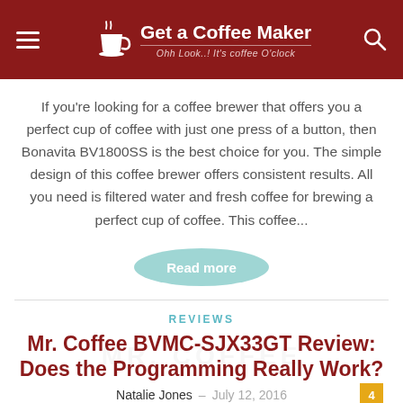Get a Coffee Maker — Ohh Look..! It's coffee O'clock
If you're looking for a coffee brewer that offers you a perfect cup of coffee with just one press of a button, then Bonavita BV1800SS is the best choice for you. The simple design of this coffee brewer offers consistent results. All you need is filtered water and fresh coffee for brewing a perfect cup of coffee. This coffee...
Read more
REVIEWS
Mr. Coffee BVMC-SJX33GT Review: Does the Programming Really Work?
Natalie Jones – July 12, 2016
[Figure (photo): Partial product image of Mr. Coffee BVMC-SJX33GT coffee maker]